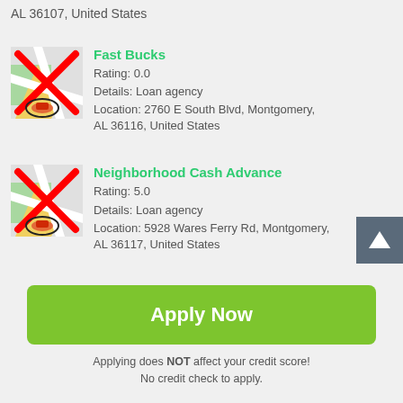AL 36107, United States
Fast Bucks
Rating: 0.0
Details: Loan agency
Location: 2760 E South Blvd, Montgomery, AL 36116, United States
[Figure (illustration): Map thumbnail icon with red X overlay and location pin, representing unavailable map image]
Neighborhood Cash Advance
Rating: 5.0
Details: Loan agency
Location: 5928 Wares Ferry Rd, Montgomery, AL 36117, United States
[Figure (illustration): Map thumbnail icon with red X overlay and location pin, representing unavailable map image]
Apply Now
Applying does NOT affect your credit score!
No credit check to apply.